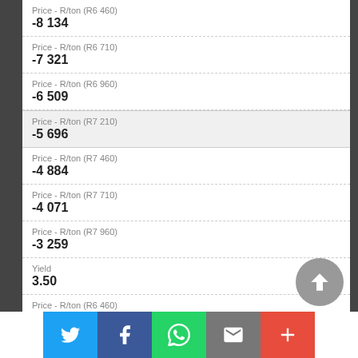Price - R/ton (R6 460)
-8 134
Price - R/ton (R6 710)
-7 321
Price - R/ton (R6 960)
-6 509
Price - R/ton (R7 210)
-5 696
Price - R/ton (R7 460)
-4 884
Price - R/ton (R7 710)
-4 071
Price - R/ton (R7 960)
-3 259
Yield
3.50
Price - R/ton (R6 460)
-6 519